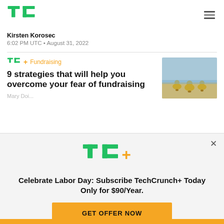TechCrunch logo and navigation
Kirsten Korosec
6:02 PM UTC • August 31, 2022
TC+ Fundraising
9 strategies that will help you overcome your fear of fundraising
[Figure (photo): Photo of baby ducklings walking near water]
Celebrate Labor Day: Subscribe TechCrunch+ Today Only for $90/Year.
GET OFFER NOW